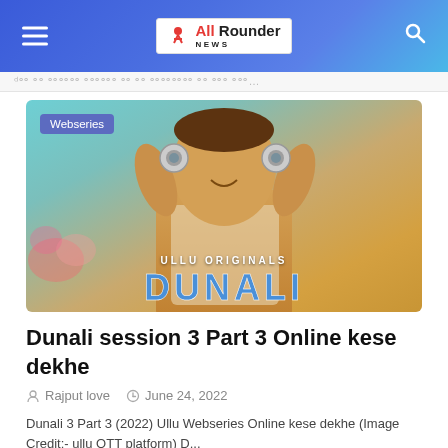All Rounder NEWS
ᵈᵒᵒ ᵒᵒ ᵒᵒᵒᵒᵒᵒ ᵒᵒᵒᵒᵒᵒ ᵒᵒ ᵒᵒ ᵒᵒᵒᵒᵒᵒᵒᵒ ᵒᵒ ᵒᵒᵒ ᵒᵒᵒ
[Figure (photo): Movie poster for Dunali (Ullu Originals) showing a man holding up two jewelry pieces like binoculars in front of his eyes, with a 'Webseries' badge overlay and 'ULLU ORIGINALS DUNALI' text at the bottom]
Dunali session 3 Part 3 Online kese dekhe
Rajput love   June 24, 2022
Dunali 3 Part 3 (2022) Ullu Webseries Online kese dekhe (Image Credit:- ullu OTT platform)  D...